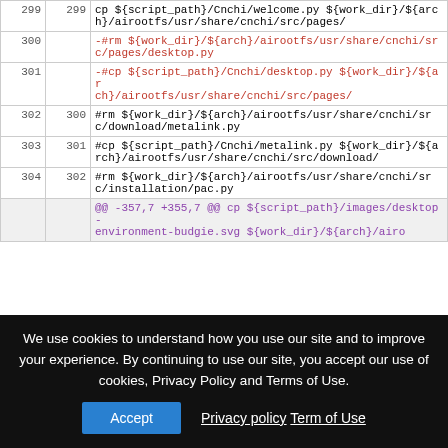|  |  | code |
| --- | --- | --- |
| 299 | 299 | cp ${script_path}/Cnchi/welcome.py ${work_dir}/${arch}/airootfs/usr/share/cnchi/src/pages/ |
| 300 |  | -#rm ${work_dir}/${arch}/airootfs/usr/share/cnchi/src/pages/desktop.py |
| 301 |  | -#cp ${script_path}/Cnchi/desktop.py ${work_dir}/${arch}/airootfs/usr/share/cnchi/src/pages/ |
| 302 | 300 | #rm ${work_dir}/${arch}/airootfs/usr/share/cnchi/src/download/metalink.py |
| 303 | 301 | #cp ${script_path}/Cnchi/metalink.py ${work_dir}/${arch}/airootfs/usr/share/cnchi/src/download/ |
| 304 | 302 | #rm ${work_dir}/${arch}/airootfs/usr/share/cnchi/src/installation/pac.py |
|  |  | @@ -357,7 +355,7 @@ cp ${script_path}/images/desktop-environment-budgie.svg ${work_dir}/${arch}/airo |
We use cookies to understand how you use our site and to improve your experience. By continuing to use our site, you accept our use of cookies, Privacy Policy and Terms of Use.